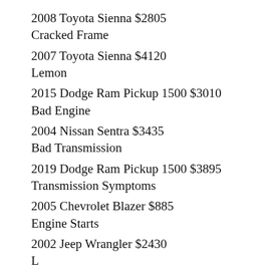2008 Toyota Sienna $2805
Cracked Frame
2007 Toyota Sienna $4120
Lemon
2015 Dodge Ram Pickup 1500 $3010
Bad Engine
2004 Nissan Sentra $3435
Bad Transmission
2019 Dodge Ram Pickup 1500 $3895
Transmission Symptoms
2005 Chevrolet Blazer $885
Engine Starts
2002 Jeep Wrangler $2430
L…